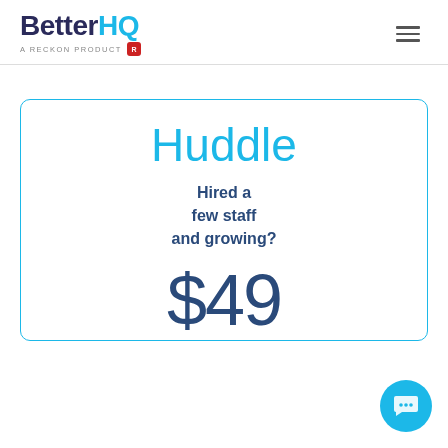[Figure (logo): BetterHQ logo with 'A RECKON PRODUCT' tagline and red R badge]
Huddle
Hired a few staff and growing?
$49